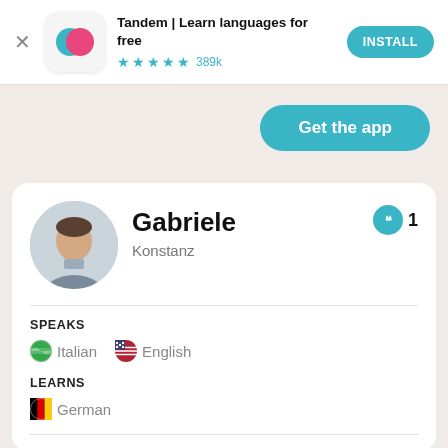[Figure (screenshot): App install banner for Tandem: Learn languages for free with app icon, star rating 4.5 stars 389k reviews, and INSTALL button]
Tandem | Learn languages for free
★★★★½ 389k
INSTALL
Get the app
[Figure (photo): Profile photo of Gabriele, a young man in a grey blazer with arms crossed, circular crop]
Gabriele
Konstanz
1
SPEAKS
🇮🇹 Italian  🇺🇸 English
LEARNS
🇩🇪 German